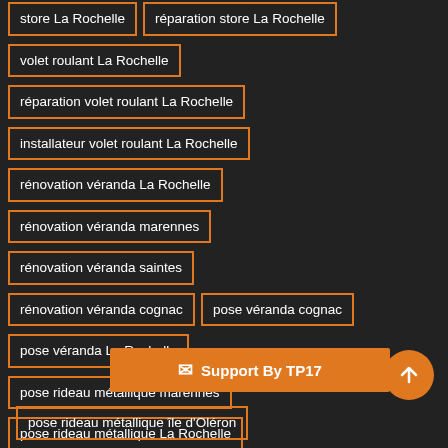store La Rochelle
réparation store La Rochelle
volet roulant La Rochelle
réparation volet roulant La Rochelle
installateur volet roulant La Rochelle
rénovation véranda La Rochelle
rénovation véranda marennes
rénovation véranda saintes
rénovation véranda cognac
pose véranda cognac
pose véranda La Rochelle
pose rideau métallique marennes
pose rideau métallique La Rochelle
pose rideau mé...
pose rideau métallique île d'Oléron
Support By TP17